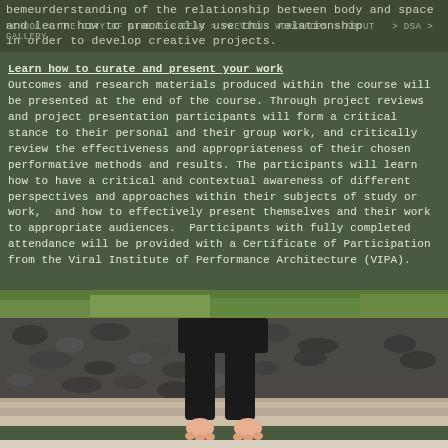bemeurderstanding of the relationship between body and space and learn how to practically use this relationship in order to develop creative projects.
Learn how to curate and present your work
Outcomes and research materials produced within the course will be presented at the end of the course. Through project reviews and project presentation participants will form a critical stance to their personal and their group work, and critically review the effectiveness and appropriateness of their chosen performative methods and results. The participants will learn how to have a critical and contextual awareness of different perspectives and approaches within their subjects of study or work,  and how to effectively present themselves and their work to appropriate audiences.  Participants with fully completed attendance will be provided with a Certificate of Participation from the Viral Institute of Performance Architecture (VIPA).
[Figure (photo): Photo of a person's lower body (black pants/legs) standing on gravel/rocks with green grass in the background. The person's hands are visible at the bottom center of the frame.]